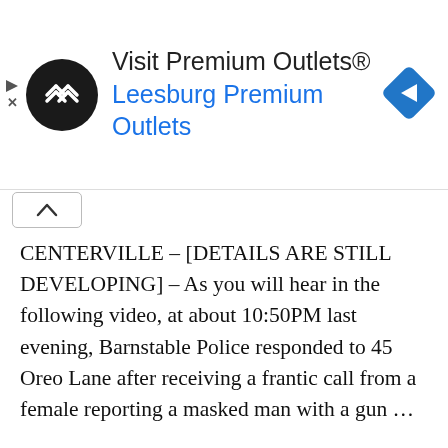[Figure (other): Advertisement banner for Visit Premium Outlets® / Leesburg Premium Outlets with a black circular logo with white chevron arrows, blue navigation arrow icon on right, play/close controls on left]
CENTERVILLE – [DETAILS ARE STILL DEVELOPING] – As you will hear in the following video, at about 10:50PM last evening, Barnstable Police responded to 45 Oreo Lane after receiving a frantic call from a female reporting a masked man with a gun …
Continue reading →
Attack, Home Invasion, Robbery, Stabbing
Armed man grabbed neighbor… residential staff member took refuge in locked